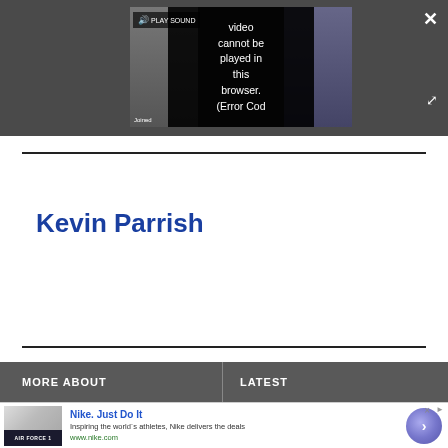[Figure (screenshot): Video player embedded in dark gray bar. Shows two people on a video call. Center overlay reads: 'PLAY SOUND Video cannot be played in this browser. (Error Cod'. A 'Joined' label at bottom left. Close X button top right, expand button mid-right.]
Kevin Parrish
MORE ABOUT
LATEST
[Figure (screenshot): Advertisement: Nike. Just Do It. Inspiring the world's athletes, Nike delivers the deals. www.nike.com. Shows Air Force 1 sneaker thumbnail. Blue circular CTA button with right arrow.]